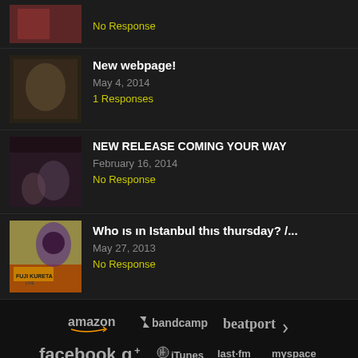No Response
New webpage! | May 4, 2014 | 1 Responses
NEW RELEASE COMING YOUR WAY | February 16, 2014 | No Response
Who ıs ın Istanbul thıs thursday? /... | May 27, 2013 | No Response
[Figure (logo): Music platform logos: amazon, bandcamp, beatport, facebook, google+, iTunes, last.fm, myspace, ReverbNation, SoundCloud, Spotify]